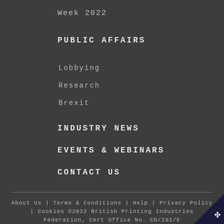Week 2022
PUBLIC AFFAIRS
Lobbying
Research
Brexit
INDUSTRY NEWS
EVENTS & WEBINARS
CONTACT US
About Us | Terms & Conditions | Help | Privacy Policy | Cookies ©2022 British Printing Industries Federation, Cert Office No. CO/I0I/E